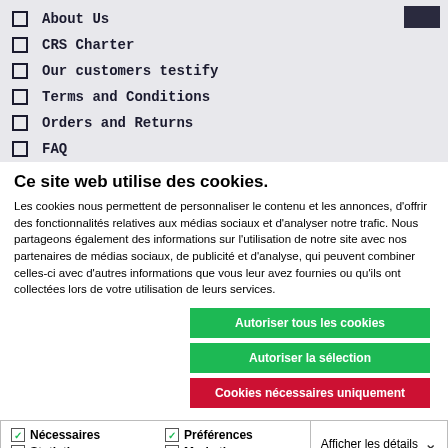About Us
CRS Charter
Our customers testify
Terms and Conditions
Orders and Returns
FAQ
Ce site web utilise des cookies.
Les cookies nous permettent de personnaliser le contenu et les annonces, d'offrir des fonctionnalités relatives aux médias sociaux et d'analyser notre trafic. Nous partageons également des informations sur l'utilisation de notre site avec nos partenaires de médias sociaux, de publicité et d'analyse, qui peuvent combiner celles-ci avec d'autres informations que vous leur avez fournies ou qu'ils ont collectées lors de votre utilisation de leurs services.
Autoriser tous les cookies
Autoriser la sélection
Cookies nécessaires uniquement
Nécessaires  Préférences  Statistiques  Marketing  Afficher les détails